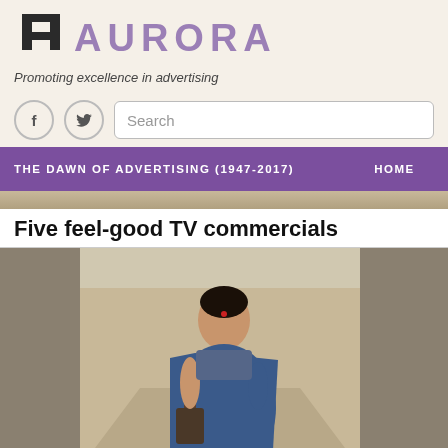AURORA - Promoting excellence in advertising
Search
THE DAWN OF ADVERTISING (1947-2017)   HOME   ≡
Five feel-good TV commercials
[Figure (photo): A person wearing a blue and yellow saree with a red bindi, carrying a bag, standing in a corridor-like setting]